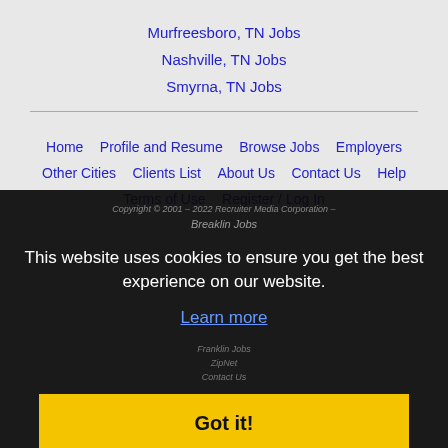Murfreesboro, TN Jobs
Nashville, TN Jobs
Smyrna, TN Jobs
Home | Profile and Resume | Browse Jobs | Employers | Other Cities | Clients List | About Us | Contact Us | Help | Terms of Use | Register / Log In
Copyright © 2001 – 2022 Recruiter Media Corporation – Breaklin Jobs
This website uses cookies to ensure you get the best experience on our website.
Learn more
Got it!